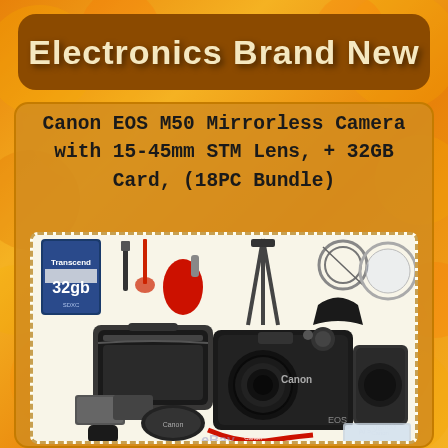Electronics Brand New
Canon EOS M50 Mirrorless Camera with 15-45mm STM Lens, + 32GB Card, (18PC Bundle)
[Figure (photo): Canon EOS M50 Mirrorless Camera bundle product photo showing camera body with lens, carrying case, 32GB Transcend SD card, tripod, lens filters, cleaning accessories, battery, lens caps, eyecup, strap, and microfiber cloth. Al's Variety and eBay branding visible.]